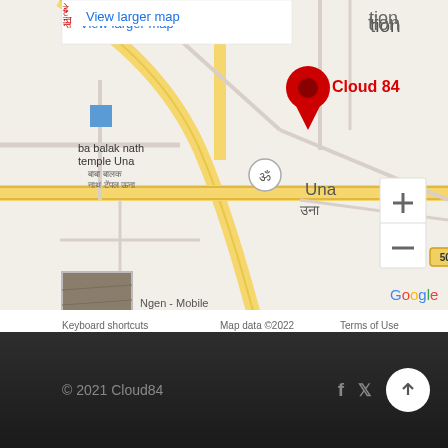[Figure (map): Google Maps screenshot showing Cloud 84 location in Una, Himachal Pradesh, India. Shows nearby landmarks: baba balak nath temple Una, Indian Oil Petrol pump (SHAH.CAPT.), road 503. Map data ©2022. Includes zoom controls (+/-) and a street view thumbnail.]
© 2021 Cloud84